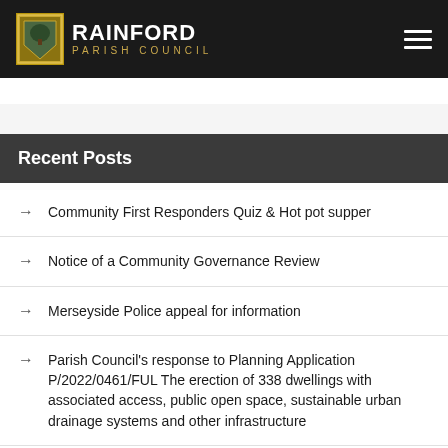RAINFORD PARISH COUNCIL
Recent Posts
Community First Responders Quiz & Hot pot supper
Notice of a Community Governance Review
Merseyside Police appeal for information
Parish Council's response to Planning Application P/2022/0461/FUL The erection of 338 dwellings with associated access, public open space, sustainable urban drainage systems and other infrastructure